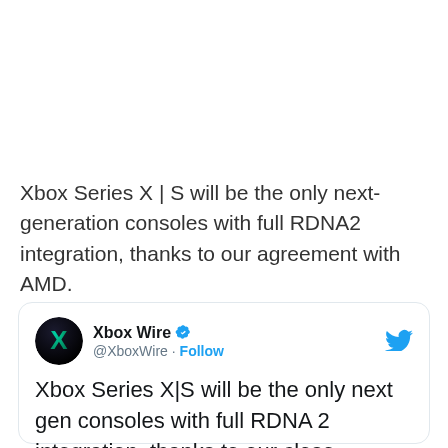Xbox Series X | S will be the only next-generation consoles with full RDNA2 integration, thanks to our agreement with AMD.
[Figure (screenshot): Tweet from @XboxWire with Xbox logo avatar and Twitter bird icon. Tweet text: Xbox Series X|S will be the only next gen consoles with full RDNA 2 integration, thanks to our close working partnership with @AMD. Learn more:]